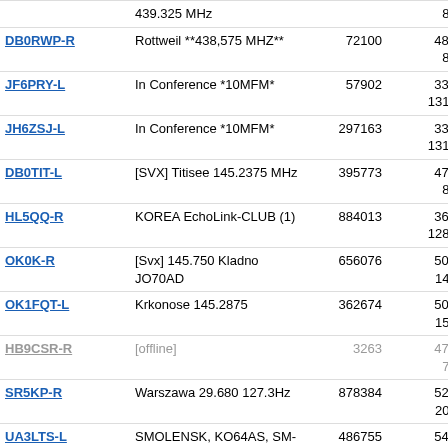| Callsign | Description | Node | Coordinates | Grid | Dist |
| --- | --- | --- | --- | --- | --- |
|  | 439.325 MHz |  | 8°24.90' E |  |  |
| DB0RWP-R | Rottweil **438,575 MHZ** | 72100 | 48°09.44' N 8°38.04' E | JN48hd | 5188.9 |
| JF6PRY-L | In Conference *10MFM* | 57902 | 33°38.32' N 131°53.94' E | PM53wp | 5190.5 |
| JH6ZSJ-L | In Conference *10MFM* | 297163 | 33°38.32' N 131°53.94' E | PM53wp | 5190.5 |
| DB0TIT-L | [SVX] Titisee 145.2375 MHz | 395773 | 47°56.85' N 8°14.00' E | JN47cw | 5191.5 |
| HL5QQ-R | KOREA EchoLink-CLUB (1) | 884013 | 36°08.80' N 128°22.20' E | PM46ed | 5193.2 |
| OK0K-R | [Svx] 145.750 Kladno JO70AD | 656076 | 50°08.41' N 14°04.73' E | JO70ad | 5194.2 |
| OK1FQT-L | Krkonose 145.2875 | 362674 | 50°36.81' N 15°36.82' E | JO70to | 5197.4 |
| HB9CSR-R | [offline] | 3263 | 47°33.72' N 7°35.57' E | JN37tn | 5198.3 |
| SR5KP-R | Warszawa 29.680 127.3Hz | 878384 | 52°10.49' N 20°44.71' E | KO02ie | 5198.4 |
| UA3LTS-L | SMOLENSK, KO64AS, SM-02 | 486755 | 54°46.60' N 32°02.15' E | KO64as | 5198.4 |
| OK0AE-R | [Svx] Plzen | 735023 | 49°48.15' N 13°20.50' E | JN69qt | 5198.8 |
| SR7SC-R | [Svx] Skierniewice 439.325 | 607422 | 51°58.50' N 20°08.66' E | KO01bx | 5200.2 |
| SR6PS-R | [Svx]438.800T94.8 Swidn (1) | 963866 | 50°50.56' N 16°29.23' E | JO80fu | 5201.0 |